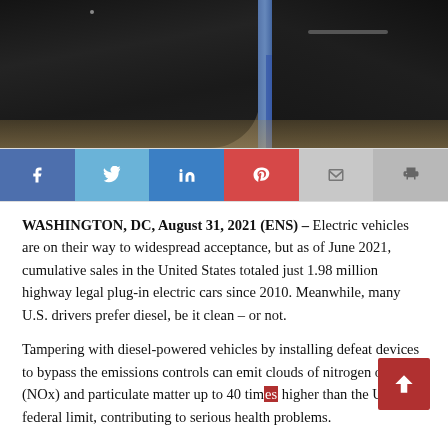[Figure (photo): Overhead/top-down view of a garage workshop with dark-colored vehicles, one on a lift. A black car occupies the foreground, and another dark SUV is visible to the right on a blue automotive lift. Garage floor is visible in the background.]
[Figure (infographic): Social media sharing bar with buttons for Facebook (blue), Twitter (light blue), LinkedIn (darker blue), Pinterest (red), Email (light grey), and Print (grey).]
WASHINGTON, DC, August 31, 2021 (ENS) – Electric vehicles are on their way to widespread acceptance, but as of June 2021, cumulative sales in the United States totaled just 1.98 million highway legal plug-in electric cars since 2010. Meanwhile, many U.S. drivers prefer diesel, be it clean – or not.
Tampering with diesel-powered vehicles by installing defeat devices to bypass the emissions controls can emit clouds of nitrogen oxide (NOx) and particulate matter up to 40 times higher than the U.S. federal limit, contributing to serious health problems.